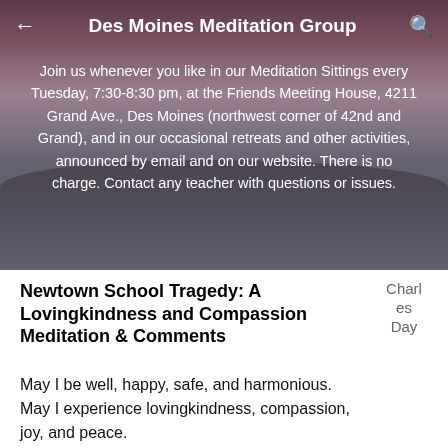Des Moines Meditation Group
Join us whenever you like in our Meditation Sittings every Tuesday, 7:30-8:30 pm, at the Friends Meeting House, 4211 Grand Ave., Des Moines (northwest corner of 42nd and Grand), and in our occasional retreats and other activities, announced by email and on our website. There is no charge. Contact any teacher with questions or issues.
Newtown School Tragedy: A Lovingkindness and Compassion Meditation & Comments
Charles Day
May I be well, happy, safe, and harmonious. May I experience lovingkindness, compassion, joy, and peace. May my family, friends, and all those I interact with